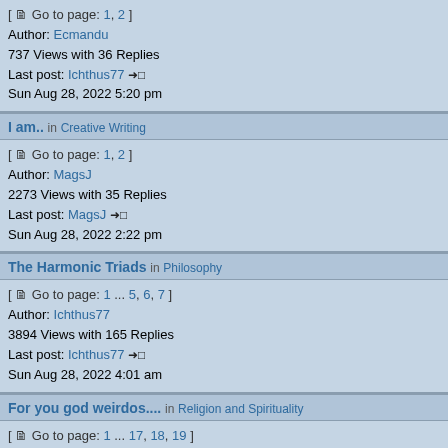[ Go to page: 1, 2 ]
Author: Ecmandu
737 Views with 36 Replies
Last post: Ichthus77 ➔□
Sun Aug 28, 2022 5:20 pm
I am.. in Creative Writing
[ Go to page: 1, 2 ]
Author: MagsJ
2273 Views with 35 Replies
Last post: MagsJ ➔□
Sun Aug 28, 2022 2:22 pm
The Harmonic Triads in Philosophy
[ Go to page: 1 ... 5, 6, 7 ]
Author: Ichthus77
3894 Views with 165 Replies
Last post: Ichthus77 ➔□
Sun Aug 28, 2022 4:01 am
For you god weirdos.... in Religion and Spirituality
[ Go to page: 1 ... 17, 18, 19 ]
Author: Ecmandu
10009 Views with 450 Replies
Last post: Ecmandu ➔□
Sat Aug 27, 2022 4:57 pm
a man amidst mankind: back again to dasein in Philosophy
[ Go to page: 1 ... 14, 15, 16 ]